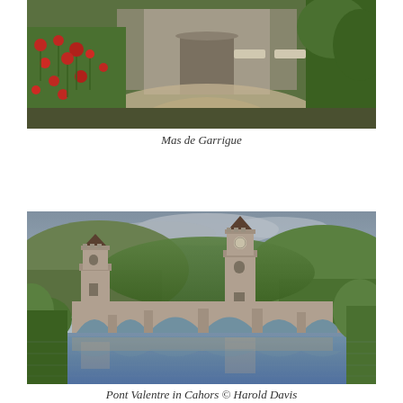[Figure (photo): Exterior view of Mas de Garrigue with poppy fields in foreground and stone building with lounge chairs in background]
Mas de Garrigue
[Figure (photo): Pont Valentre medieval bridge in Cahors reflected in calm river water, surrounded by green hills and cloudy sky, photographed by Harold Davis]
Pont Valentre in Cahors © Harold Davis